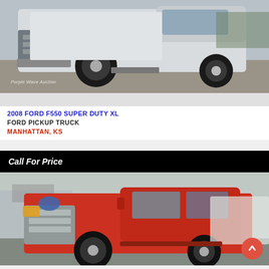[Figure (photo): White Ford F550 Super Duty XL pickup truck, front-left angle view on gravel, with Purple Wave Auction watermark]
2008 FORD F550 SUPER DUTY XL
FORD PICKUP TRUCK
MANHATTAN, KS
Call For Price
[Figure (photo): Red Ford crew cab flatbed truck, front-right angle view on street, partially visible]